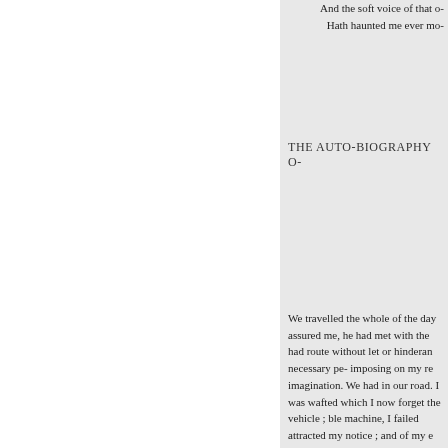And the soft voice of that o-
Hath haunted me ever mo-
THE AUTO-BIOGRAPHY O-
We travelled the whole of the day assured me, he had met with the had route without let or hinderan necessary pe- imposing on my re imagination. We had in our road. I was wafted which I now forget the vehicle ; ble machine, I failed attracted my notice ; and of my e had nodded to sleep; the persona far on my pilgrimage, have a qua was dropping into silence; and th machine sakes, that they are so-